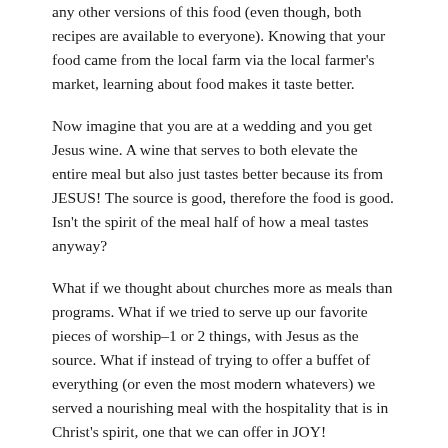any other versions of this food (even though, both recipes are available to everyone). Knowing that your food came from the local farm via the local farmer's market, learning about food makes it taste better.
Now imagine that you are at a wedding and you get Jesus wine. A wine that serves to both elevate the entire meal but also just tastes better because its from JESUS! The source is good, therefore the food is good. Isn't the spirit of the meal half of how a meal tastes anyway?
What if we thought about churches more as meals than programs. What if we tried to serve up our favorite pieces of worship–1 or 2 things, with Jesus as the source. What if instead of trying to offer a buffet of everything (or even the most modern whatevers) we served a nourishing meal with the hospitality that is in Christ's spirit, one that we can offer in JOY!